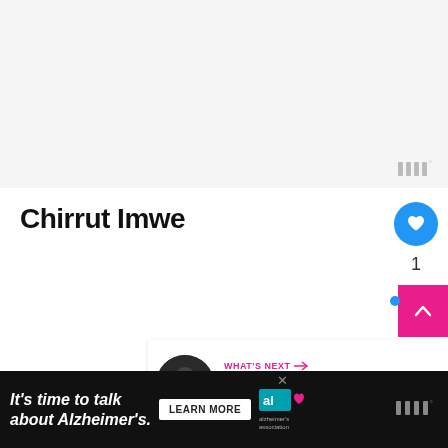[Figure (other): Light gray placeholder image area at top of page]
Chirrut Imwe
[Figure (other): Blue circular like/heart button with heart icon and count of 1]
[Figure (other): WHAT'S NEXT panel with thumbnail and text: Meet the heroes and...]
[Figure (other): Advertisement bar: It's time to talk about Alzheimer's. with Learn More CTA and Alzheimer's Association logo]